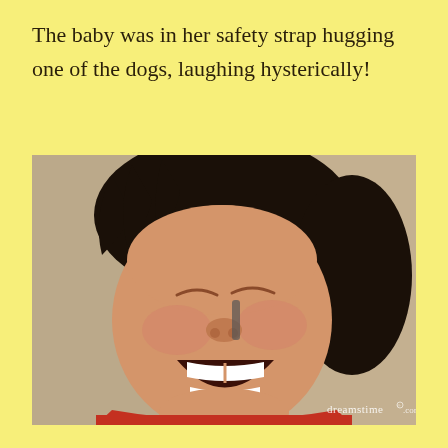The baby was in her safety strap hugging one of the dogs, laughing hysterically!
[Figure (photo): Close-up photo of a young child with dark hair laughing hysterically with eyes closed and mouth wide open showing teeth, wearing a red top. Watermark reads 'dreamstime.com'.]